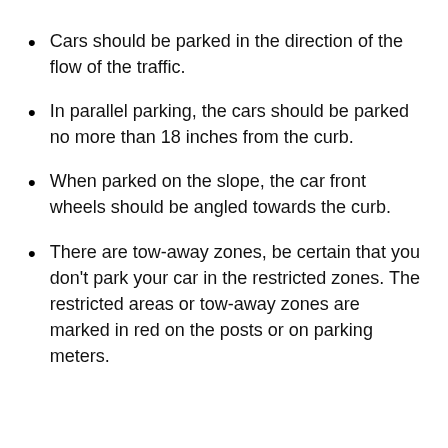Cars should be parked in the direction of the flow of the traffic.
In parallel parking, the cars should be parked no more than 18 inches from the curb.
When parked on the slope, the car front wheels should be angled towards the curb.
There are tow-away zones, be certain that you don't park your car in the restricted zones. The restricted areas or tow-away zones are marked in red on the posts or on parking meters.